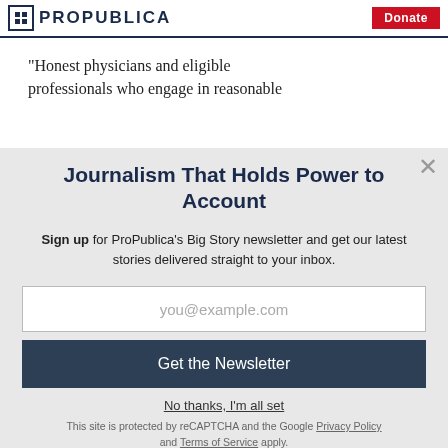ProPublica | Donate
“Honest physicians and eligible professionals who engage in reasonable
Journalism That Holds Power to Account
Sign up for ProPublica’s Big Story newsletter and get our latest stories delivered straight to your inbox.
you@example.com
Get the Newsletter
No thanks, I’m all set
This site is protected by reCAPTCHA and the Google Privacy Policy and Terms of Service apply.